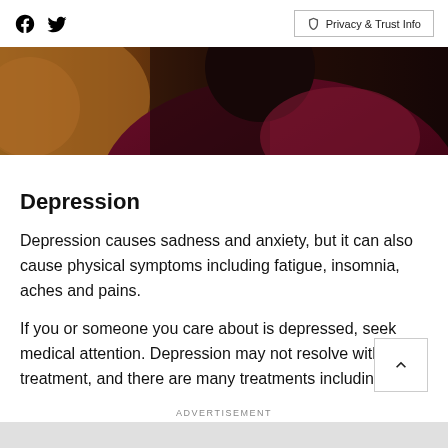Facebook Twitter | Privacy & Trust Info
[Figure (photo): Close-up photo of a person wearing a dark maroon/burgundy shirt, partially visible head and shoulders, warm amber/brown tones in background]
Depression
Depression causes sadness and anxiety, but it can also cause physical symptoms including fatigue, insomnia, aches and pains.
If you or someone you care about is depressed, seek medical attention. Depression may not resolve without treatment, and there are many treatments including
ADVERTISEMENT